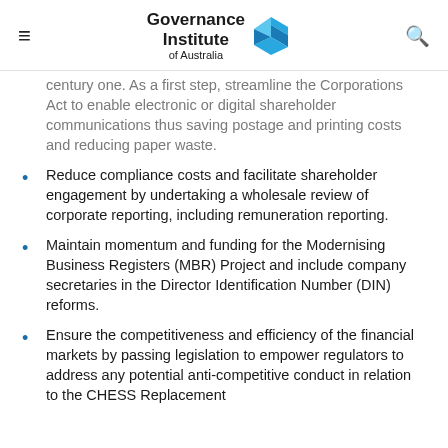Governance Institute of Australia
century one. As a first step, streamline the Corporations Act to enable electronic or digital shareholder communications thus saving postage and printing costs and reducing paper waste.
Reduce compliance costs and facilitate shareholder engagement by undertaking a wholesale review of corporate reporting, including remuneration reporting.
Maintain momentum and funding for the Modernising Business Registers (MBR) Project and include company secretaries in the Director Identification Number (DIN) reforms.
Ensure the competitiveness and efficiency of the financial markets by passing legislation to empower regulators to address any potential anti-competitive conduct in relation to the CHESS Replacement